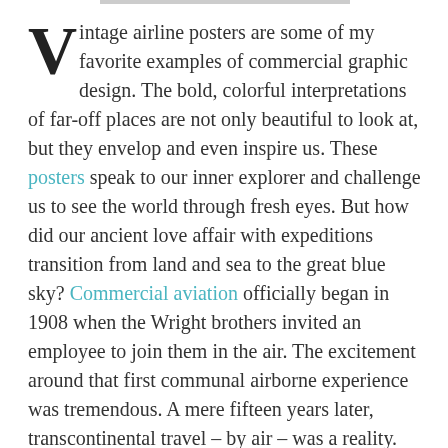Vintage airline posters are some of my favorite examples of commercial graphic design. The bold, colorful interpretations of far-off places are not only beautiful to look at, but they envelop and even inspire us. These posters speak to our inner explorer and challenge us to see the world through fresh eyes. But how did our ancient love affair with expeditions transition from land and sea to the great blue sky? Commercial aviation officially began in 1908 when the Wright brothers invited an employee to join them in the air. The excitement around that first communal airborne experience was tremendous. A mere fifteen years later, transcontinental travel – by air – was a reality. Suddenly exotic corners of the world were accessible (assuming you had the financial capacity to afford the early ticket prices!). While modern advancements in air travel have ushered in a new